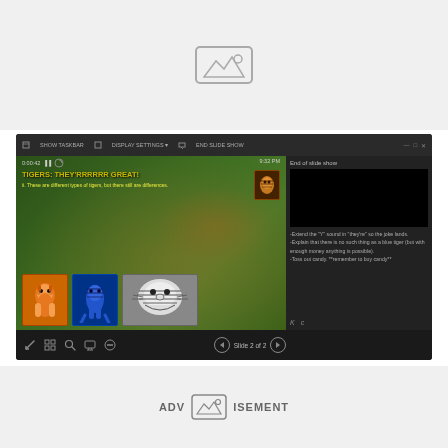[Figure (screenshot): Advertisement placeholder area at top with image placeholder icon]
[Figure (screenshot): Screenshot of a presentation software showing slide 2 of 2 with title 'TIGERS: THEY'RRRRRR GREAT!' featuring a real tiger photo background and cartoon tiger images. Sidebar shows 'End of slide show' panel with speaker notes: '-Extend the Y sound in they're so the joke lands. -Explain that there is no such thing as a blue tiger (but with enough money anything is possible). -Toss out candy. **remember to buy candy**']
ADVERTISEMENT